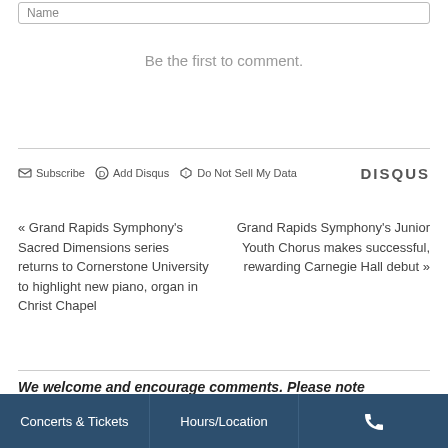Name
Be the first to comment.
Subscribe  Add Disqus  Do Not Sell My Data  DISQUS
« Grand Rapids Symphony's Sacred Dimensions series returns to Cornerstone University to highlight new piano, organ in Christ Chapel
Grand Rapids Symphony's Junior Youth Chorus makes successful, rewarding Carnegie Hall debut »
We welcome and encourage comments. Please note
Concerts & Tickets  Hours/Location  📞